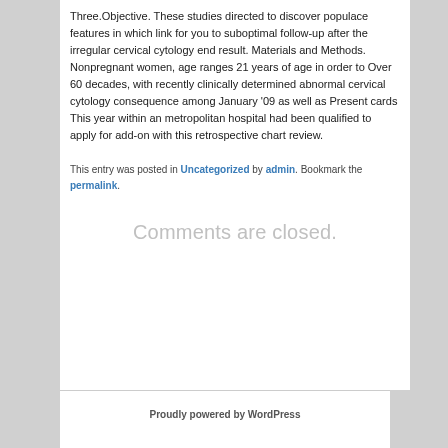Three.Objective. These studies directed to discover populace features in which link for you to suboptimal follow-up after the irregular cervical cytology end result. Materials and Methods. Nonpregnant women, age ranges 21 years of age in order to Over 60 decades, with recently clinically determined abnormal cervical cytology consequence among January '09 as well as Present cards This year within an metropolitan hospital had been qualified to apply for add-on with this retrospective chart review.
This entry was posted in Uncategorized by admin. Bookmark the permalink.
Comments are closed.
Proudly powered by WordPress